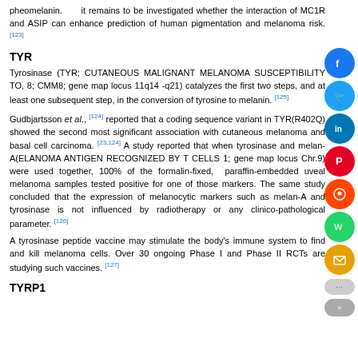pheomelanin. It remains to be investigated whether the interaction of MC1R and ASIP can enhance prediction of human pigmentation and melanoma risk. [123]
TYR
Tyrosinase (TYR; CUTANEOUS MALIGNANT MELANOMA SUSCEPTIBILITY TO, 8; CMM8; gene map locus 11q14 -q21) catalyzes the first two steps, and at least one subsequent step, in the conversion of tyrosine to melanin. [125]
Gudbjartsson et al., [124] reported that a coding sequence variant in TYR(R402Q) showed the second most significant association with cutaneous melanoma and basal cell carcinoma. [23,124] A study reported that when tyrosinase and melan-A(ELANOMA ANTIGEN RECOGNIZED BY T CELLS 1; gene map locus Chr.9) were used together, 100% of the formalin-fixed, paraffin-embedded uveal melanoma samples tested positive for one of those markers. The same study concluded that the expression of melanocytic markers such as melan-A and tyrosinase is not influenced by radiotherapy or any clinico-pathological parameter. [126]
A tyrosinase peptide vaccine may stimulate the body's immune system to find and kill melanoma cells. Over 30 ongoing Phase I and Phase II RCTs are studying such vaccines. [127]
TYRP1